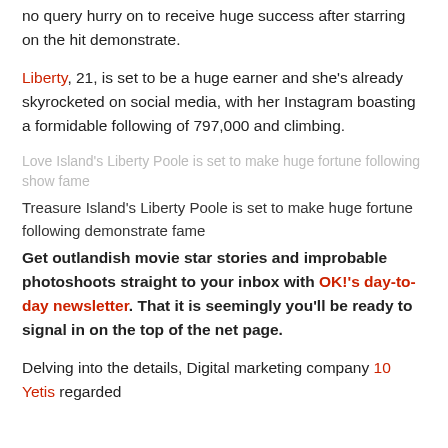no query hurry on to receive huge success after starring on the hit demonstrate.
Liberty, 21, is set to be a huge earner and she's already skyrocketed on social media, with her Instagram boasting a formidable following of 797,000 and climbing.
[Figure (photo): Love Island's Liberty Poole is set to make huge fortune following show fame]
Treasure Island's Liberty Poole is set to make huge fortune following demonstrate fame
Get outlandish movie star stories and improbable photoshoots straight to your inbox with OK!'s day-to-day newsletter. That it is seemingly you'll be ready to signal in on the top of the net page.
Delving into the details, Digital marketing company 10 Yetis regarded